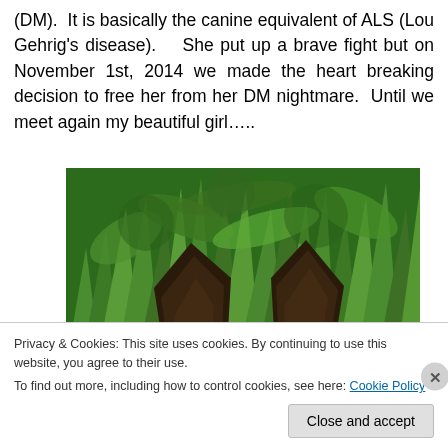(DM).  It is basically the canine equivalent of ALS (Lou Gehrig's disease).   She put up a brave fight but on November 1st, 2014 we made the heart breaking decision to free her from her DM nightmare.  Until we meet again my beautiful girl…..
[Figure (photo): A close-up photo of a dog's ears from behind, with lush green foliage in the background. The dog appears to be a German Shepherd or similar breed with large, dark-furred pointed ears.]
Privacy & Cookies: This site uses cookies. By continuing to use this website, you agree to their use.
To find out more, including how to control cookies, see here: Cookie Policy